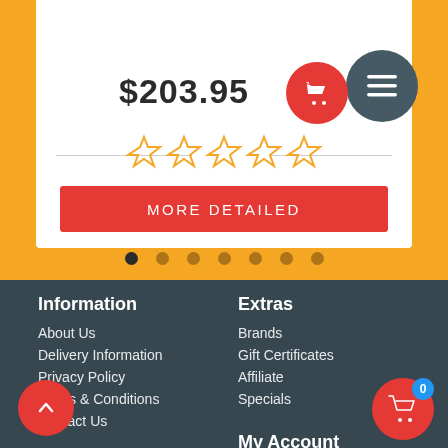$203.95
[Figure (other): Five empty star rating icons in orange/gold outline]
MORE DETAILED
[Figure (other): Carousel navigation dots, 7 dots with first one active/filled]
Information
About Us
Delivery Information
Privacy Policy
Terms & Conditions
Contact Us
Extras
Brands
Gift Certificates
Affiliate
Specials
My Account